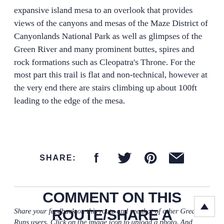expansive island mesa to an overlook that provides views of the canyons and mesas of the Maze District of Canyonlands National Park as well as glimpses of the Green River and many prominent buttes, spires and rock formations such as Cleopatra's Throne. For the most part this trail is flat and non-technical, however at the very end there are stairs climbing up about 100ft leading to the edge of the mesa.
[Figure (other): Social share bar with SHARE: label and icons for Facebook, Twitter, Pinterest, and Email]
COMMENT ON THIS ROUTE/SHARE A PHOTO!
Share your feedback on this route and see that of other Great Runs users. Click on the image icon to upload a photo. And please let us know if there are...